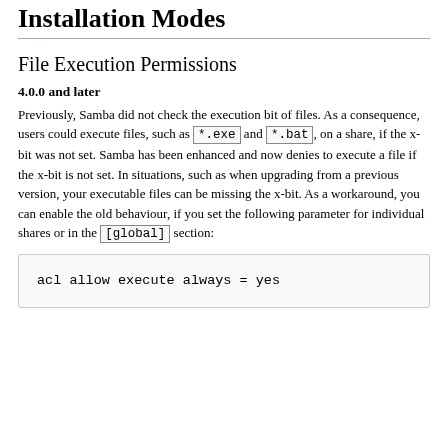Installation Modes
File Execution Permissions
4.0.0 and later
Previously, Samba did not check the execution bit of files. As a consequence, users could execute files, such as *.exe and *.bat, on a share, if the x-bit was not set. Samba has been enhanced and now denies to execute a file if the x-bit is not set. In situations, such as when upgrading from a previous version, your executable files can be missing the x-bit. As a workaround, you can enable the old behaviour, if you set the following parameter for individual shares or in the [global] section:
acl allow execute always = yes